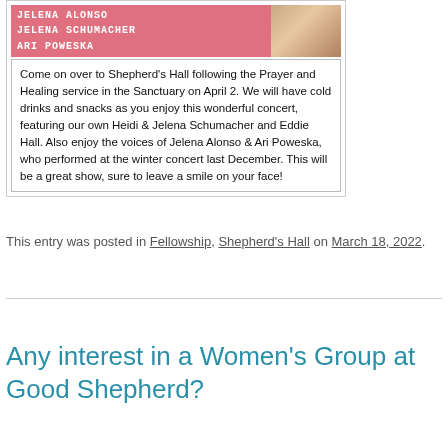[Figure (photo): Pink concert flyer section showing performer names JELENA ALONSO, JELENA SCHUMACHER, ARI POWESKA in white uppercase text on pink background, with a photo of a smiling woman on the right side.]
Come on over to Shepherd’s Hall following the Prayer and Healing service in the Sanctuary on April 2. We will have cold drinks and snacks as you enjoy this wonderful concert, featuring our own Heidi & Jelena Schumacher and Eddie Hall. Also enjoy the voices of Jelena Alonso & Ari Poweska, who performed at the winter concert last December. This will be a great show, sure to leave a smile on your face!
This entry was posted in Fellowship, Shepherd’s Hall on March 18, 2022.
Any interest in a Women’s Group at Good Shepherd?